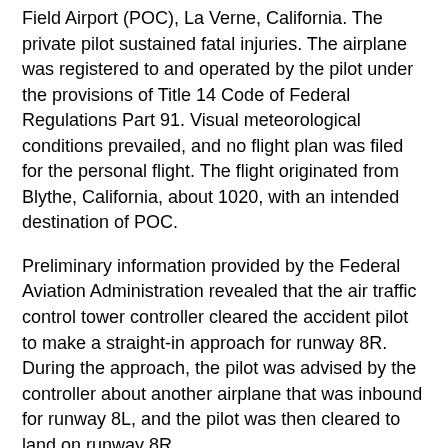Field Airport (POC), La Verne, California. The private pilot sustained fatal injuries. The airplane was registered to and operated by the pilot under the provisions of Title 14 Code of Federal Regulations Part 91. Visual meteorological conditions prevailed, and no flight plan was filed for the personal flight. The flight originated from Blythe, California, about 1020, with an intended destination of POC.
Preliminary information provided by the Federal Aviation Administration revealed that the air traffic control tower controller cleared the accident pilot to make a straight-in approach for runway 8R. During the approach, the pilot was advised by the controller about another airplane that was inbound for runway 8L, and the pilot was then cleared to land on runway 8R.
Witnesses located near the accident site reported that they heard a noise and observed the accident airplane in a left bank that progressively continued to steepen before the airplane impacted the ground in a left wing, nose low attitude. The witnesses further reported that shortly after the impact, a post impact fire ensued.